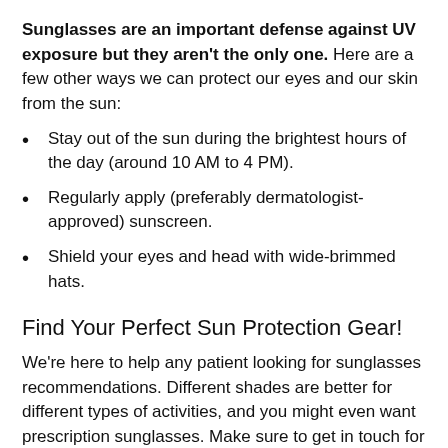Sunglasses are an important defense against UV exposure but they aren't the only one. Here are a few other ways we can protect our eyes and our skin from the sun:
Stay out of the sun during the brightest hours of the day (around 10 AM to 4 PM).
Regularly apply (preferably dermatologist-approved) sunscreen.
Shield your eyes and head with wide-brimmed hats.
Find Your Perfect Sun Protection Gear!
We're here to help any patient looking for sunglasses recommendations. Different shades are better for different types of activities, and you might even want prescription sunglasses. Make sure to get in touch for an appointment if you ever experience photokeratitis symptoms or any other changes to your vision.